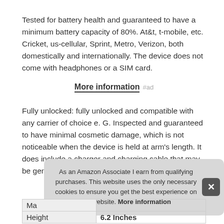Tested for battery health and guaranteed to have a minimum battery capacity of 80%. At&t, t-mobile, etc. Cricket, us-cellular, Sprint, Metro, Verizon, both domestically and internationally. The device does not come with headphones or a SIM card.
More information #ad
Fully unlocked: fully unlocked and compatible with any carrier of choice e. G. Inspected and guaranteed to have minimal cosmetic damage, which is not noticeable when the device is held at arm's length. It does include a charger and charging cable that may be generic.
As an Amazon Associate I earn from qualifying purchases. This website uses the only necessary cookies to ensure you get the best experience on our website. More information
| Ma |  |
| Height | 6.2 Inches |